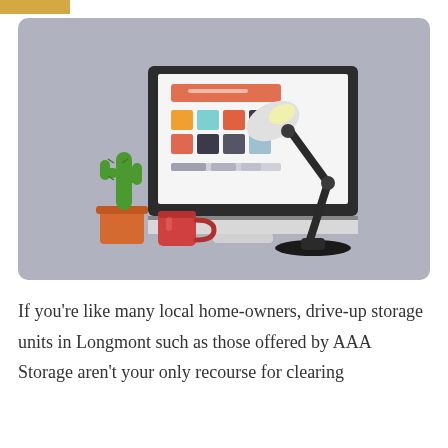[Figure (illustration): Flat-style illustration on a gray-blue rounded rectangle background showing a desktop computer monitor displaying a colorful UI/website mockup with an orange header bar and colored tiles, a green cactus in an orange pot to the left, a red coffee mug, and a dark desk lamp leaning over the monitor from the right.]
If you're like many local home-owners, drive-up storage units in Longmont such as those offered by AAA Storage aren't your only recourse for clearing